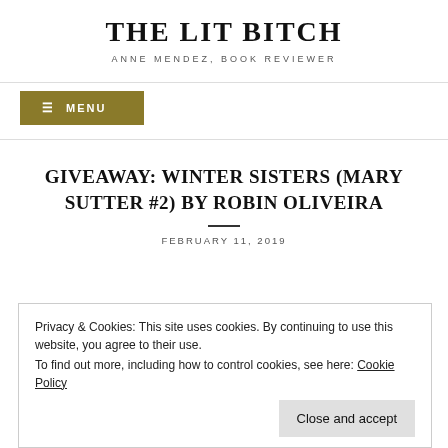THE LIT BITCH
ANNE MENDEZ, BOOK REVIEWER
MENU
GIVEAWAY: WINTER SISTERS (MARY SUTTER #2) BY ROBIN OLIVEIRA
FEBRUARY 11, 2019
Privacy & Cookies: This site uses cookies. By continuing to use this website, you agree to their use.
To find out more, including how to control cookies, see here: Cookie Policy
Close and accept